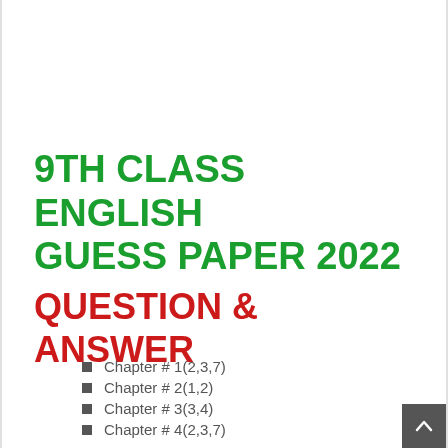9TH CLASS ENGLISH GUESS PAPER 2022 QUESTION & ANSWER
Chapter # 1(2,3,7)
Chapter # 2(1,2)
Chapter # 3(3,4)
Chapter # 4(2,3,7)